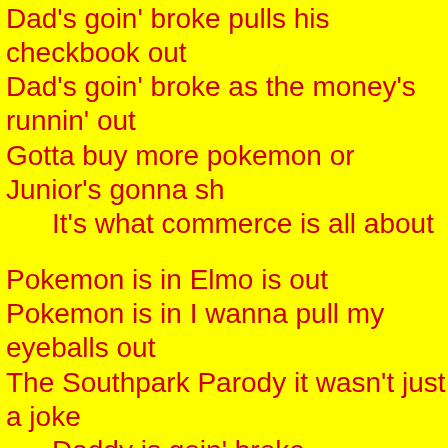Dad's goin' broke pulls his checkbook out
Dad's goin' broke as the money's runnin' out
Gotta buy more pokemon or Junior's gonna sh
  It's what commerce is all about
Pokemon is in Elmo is out
Pokemon is in I wanna pull my eyeballs out
The Southpark Parody it wasn't just a joke
  Daddy is goin' broke
Pokemon is in Take your checkbooks out
  Pokemon is in till the money all runs out
  Pokemon is costing mom an arm and then a
    Talking Elmo is out
When school is in Before school is out
  The kids are packin' arms and takin' junior o
  They do the hokey pokemon and trade b